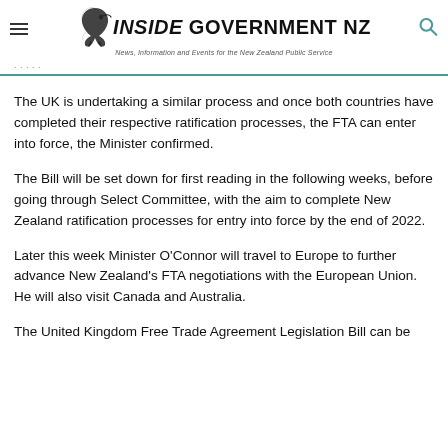Inside Government NZ — News, Information and Events for the New Zealand Public Service
The UK is undertaking a similar process and once both countries have completed their respective ratification processes, the FTA can enter into force, the Minister confirmed.
The Bill will be set down for first reading in the following weeks, before going through Select Committee, with the aim to complete New Zealand ratification processes for entry into force by the end of 2022.
Later this week Minister O'Connor will travel to Europe to further advance New Zealand's FTA negotiations with the European Union. He will also visit Canada and Australia.
The United Kingdom Free Trade Agreement Legislation Bill can be